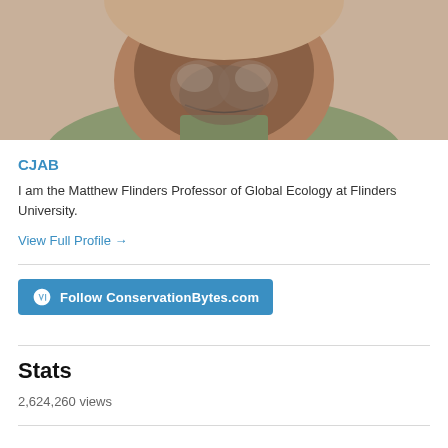[Figure (photo): Cropped photo showing the lower face and chin of a bearded man wearing a collared shirt]
CJAB
I am the Matthew Flinders Professor of Global Ecology at Flinders University.
View Full Profile →
[Figure (other): Follow ConservationBytes.com button with WordPress logo]
Stats
2,624,260 views